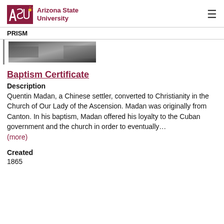ASU Arizona State University
PRISM
[Figure (photo): Thumbnail image of a document, appears dark/grayscale]
Baptism Certificate
Description
Quentin Madan, a Chinese settler, converted to Christianity in the Church of Our Lady of the Ascension. Madan was originally from Canton. In his baptism, Madan offered his loyalty to the Cuban government and the church in order to eventually…
(more)
Created
1865